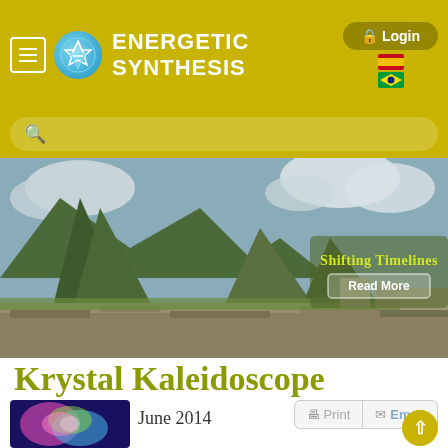ENERGETIC SYNTHESIS
[Figure (screenshot): Website header with logo, navigation menu icon, site title ENERGETIC SYNTHESIS, login button, Spanish and Brazilian flag icons, and search bar on olive/yellow-green background]
[Figure (photo): Photograph of Machu Picchu ruins with mountains in background and cloudy sky. Overlaid text box with stylized title and Read More button.]
Krystal Kaleidoscope
June 2014
[Figure (photo): Small thumbnail image of colorful fractal/mandala artwork in blue, pink, green tones]